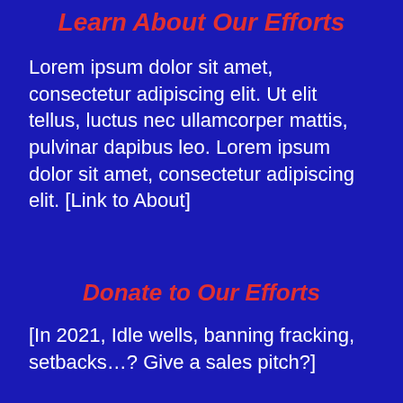Learn About Our Efforts
Lorem ipsum dolor sit amet, consectetur adipiscing elit. Ut elit tellus, luctus nec ullamcorper mattis, pulvinar dapibus leo. Lorem ipsum dolor sit amet, consectetur adipiscing elit. [Link to About]
Donate to Our Efforts
[In 2021, Idle wells, banning fracking, setbacks…? Give a sales pitch?]